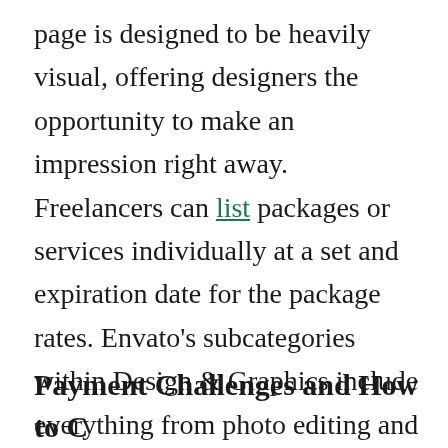page is designed to be heavily visual, offering designers the opportunity to make an impression right away. Freelancers can list packages or services individually at a set and expiration date for the package rates. Envato's subcategories within Design & Graphics include everything from photo editing and enhancement to 3D and modelling. The variety of required skill for these gigs can open doors for beginning designers looking to earn some cash while building up their skills.
Payment Challenges and How to C...